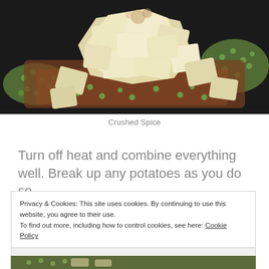[Figure (photo): Food photo showing chopped potatoes with green peas and spiced minced meat in a dark pan, with crushed spice sprinkled on top]
Crushed Spice
Turn off heat and combine everything well. Break up any potatoes as you do so.
Privacy & Cookies: This site uses cookies. By continuing to use this website, you agree to their use.
To find out more, including how to control cookies, see here: Cookie Policy
Close and accept
[Figure (photo): Bottom portion of food photo partially visible]